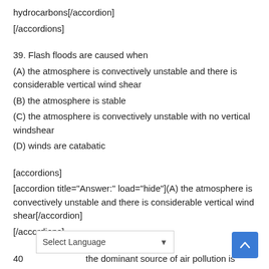hydrocarbons[/accordion]
[/accordions]
39. Flash floods are caused when
(A) the atmosphere is convectively unstable and there is considerable vertical wind shear
(B) the atmosphere is stable
(C) the atmosphere is convectively unstable with no vertical windshear
(D) winds are catabatic
[accordions]
[accordion title="Answer:" load="hide"](A) the atmosphere is convectively unstable and there is considerable vertical wind shear[/accordion]
[/accordions]
40 ... the dominant source of air pollution is